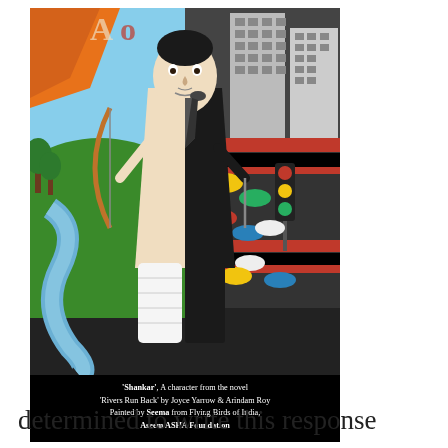[Figure (illustration): Book cover illustration showing a split character: left half is a traditional Indian holy man (Shankar) with dhoti and bow, right half is a modern man in a business suit and tie. Background shows a natural landscape (mountains, river, trees) on the left and an urban scene with buildings, traffic light, and colorful cars on the right. Text caption at bottom on black background.]
'Shankar', A character from the novel 'Rivers Run Back' by Joyce Yarrow & Arindam Roy Painted by Seema from Flying Birds of India, Aseem ASHA Foundation
determined to write this response